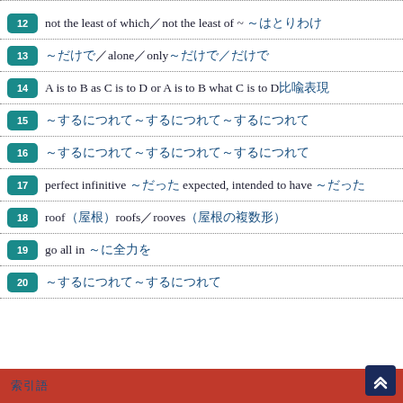12 not the least of which／not the least of ~ ～はとりわけ
13 ～だけで／alone／only～だけで／だけで
14 A is to B as C is to D or A is to B what C is to D比喩表現
15 ～するにつれて～するにつれて～するにつれて
16 ～するにつれて～するにつれて～するにつれて
17 perfect infinitive ～だった expected, intended to have ～だった
18 roof（屋根）roofs／rooves（屋根の複数形）
19 go all in ～に全力を
20 ～するにつれて～するにつれて
索引語